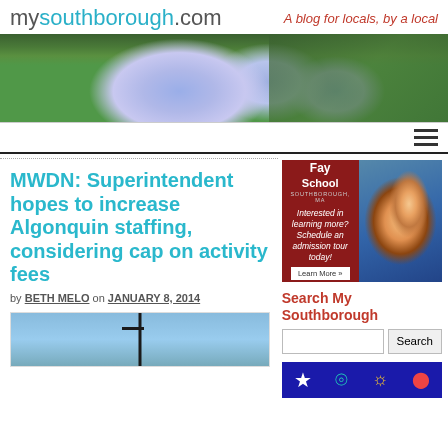mysouthborough.com — A blog for locals, by a local
[Figure (photo): Blue hydrangea flowers with green leaves, banner image for mysouthborough.com]
MWDN: Superintendent hopes to increase Algonquin staffing, considering cap on activity fees
by BETH MELO on JANUARY 8, 2014
[Figure (photo): Photograph of a street lamp against a blue sky, partially visible at bottom of article]
[Figure (advertisement): Fay School Southborough MA advertisement - Interested in learning more? Schedule an admission tour today! Learn More button, with photo of smiling student]
Search My Southborough
[Figure (other): Colorful icons on dark blue background - star, spiral, sun, dot shapes - bottom sidebar advertisement]